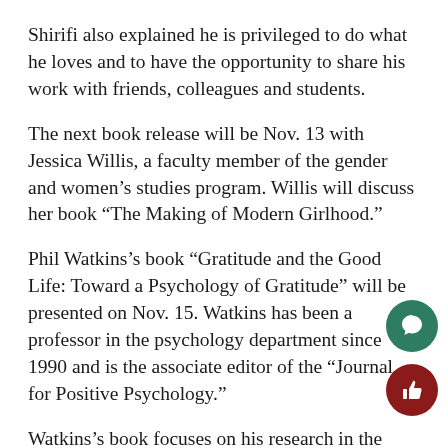Shirifi also explained he is privileged to do what he loves and to have the opportunity to share his work with friends, colleagues and students.
The next book release will be Nov. 13 with Jessica Willis, a faculty member of the gender and women’s studies program. Willis will discuss her book “The Making of Modern Girlhood.”
Phil Watkins’s book “Gratitude and the Good Life: Toward a Psychology of Gratitude” will be presented on Nov. 15. Watkins has been a professor in the psychology department since 1990 and is the associate editor of the “Journal for Positive Psychology.”
Watkins’s book focuses on his research in the science of gratitude, which he is considered on the pioneers.